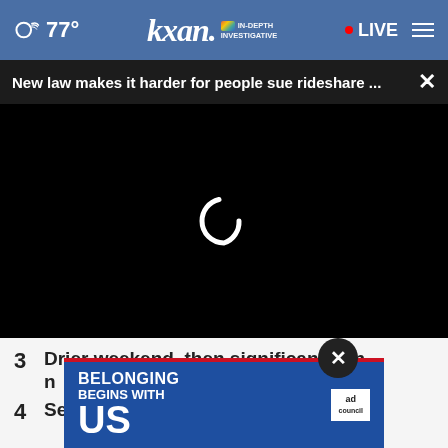77° kxan IN-DEPTH INVESTIGATIVE • LIVE
New law makes it harder for people sue rideshare ... ×
[Figure (screenshot): Black video player area with loading spinner (partial circle arc in white)]
3 Drier weekend, then significant rain n...
4 September forecast: change for...
[Figure (infographic): Ad banner: BELONGING BEGINS WITH US — Ad Council logo on blue background with red underline stripe]